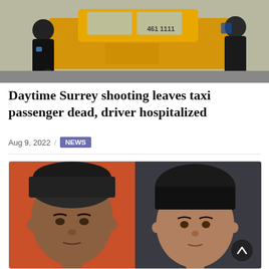[Figure (photo): News scene photo showing people near a yellow taxi cab on a street, shot in daytime. A person in black clothing is visible near the taxi, with others standing nearby.]
Daytime Surrey shooting leaves taxi passenger dead, driver hospitalized
Aug 9, 2022 / NEWS
[Figure (photo): Side-by-side portrait photos: left photo shows a man wearing a black turban against an orange background; right photo shows a woman with dark hair against a dark background.]